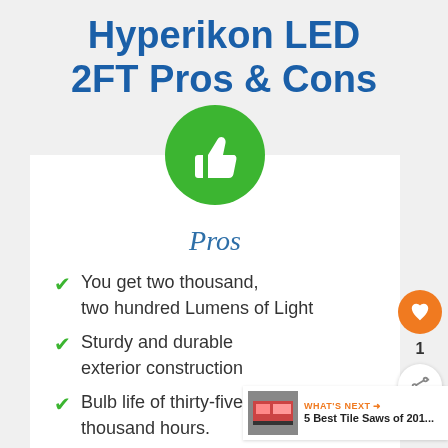Hyperikon LED 2FT Pros & Cons
[Figure (illustration): Green circle with white thumbs-up icon representing Pros]
Pros
You get two thousand, two hundred Lumens of Light
Sturdy and durable exterior construction
Bulb life of thirty-five thousand hours.